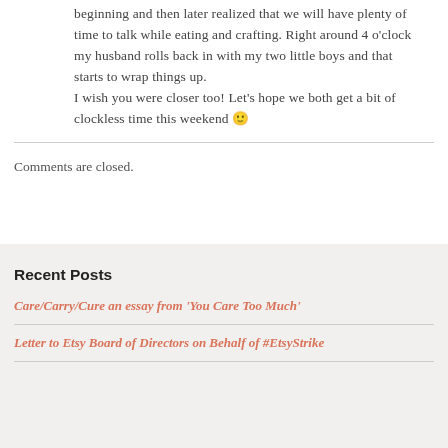beginning and then later realized that we will have plenty of time to talk while eating and crafting. Right around 4 o'clock my husband rolls back in with my two little boys and that starts to wrap things up.
I wish you were closer too! Let's hope we both get a bit of clockless time this weekend 🙂
Comments are closed.
Recent Posts
Care/Carry/Cure an essay from 'You Care Too Much'
Letter to Etsy Board of Directors on Behalf of #EtsyStrike